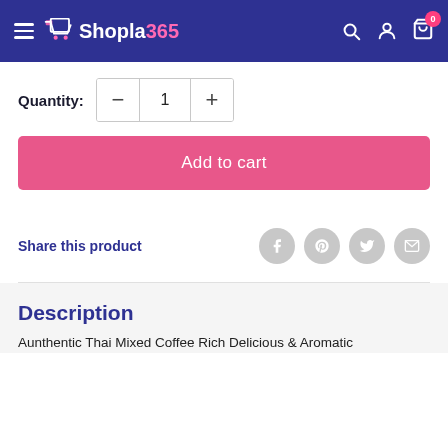Shopla365
Quantity: 1
Add to cart
Share this product
Description
Aunthentic Thai Mixed Coffee Rich Delicious & Aromatic